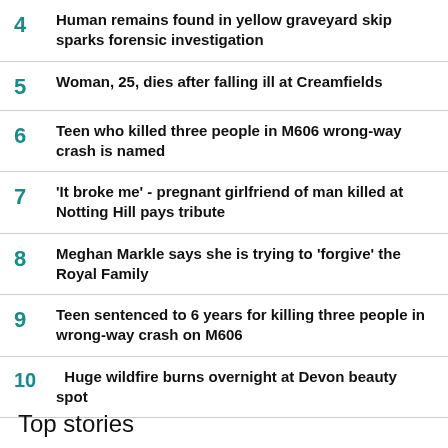4 Human remains found in yellow graveyard skip sparks forensic investigation
5 Woman, 25, dies after falling ill at Creamfields
6 Teen who killed three people in M606 wrong-way crash is named
7 'It broke me' - pregnant girlfriend of man killed at Notting Hill pays tribute
8 Meghan Markle says she is trying to 'forgive' the Royal Family
9 Teen sentenced to 6 years for killing three people in wrong-way crash on M606
10 Huge wildfire burns overnight at Devon beauty spot
Top stories